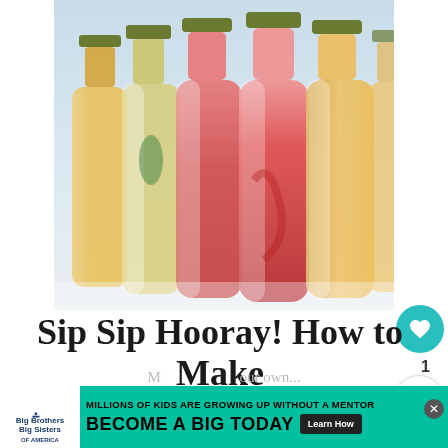[Figure (photo): Multiple colorful bottled cocktails with gold caps — pink/red bottles in center, yellow/orange bottles on sides, against a light background]
Sip Sip Hooray! How to Make Bottled Cocktails
[Figure (infographic): Advertisement banner: Big Brothers Big Sisters of America. Millions of kids are growing up without a mentor. Become a Big Today. Learn How button.]